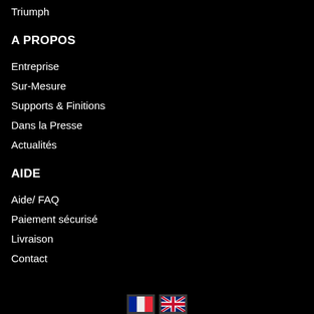Triumph
A PROPOS
Entreprise
Sur-Mesure
Supports & Finitions
Dans la Presse
Actualités
AIDE
Aide/ FAQ
Paiement sécurisé
Livraison
Contact
[Figure (illustration): French and English flag icons for language selection]